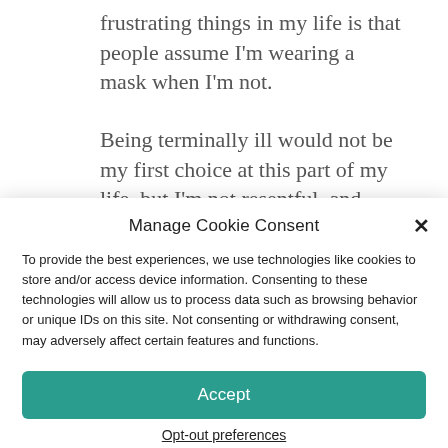frustrating things in my life is that people assume I'm wearing a mask when I'm not.
Being terminally ill would not be my first choice at this part of my life, but I'm not resentful, and don't feel that it's
Manage Cookie Consent
To provide the best experiences, we use technologies like cookies to store and/or access device information. Consenting to these technologies will allow us to process data such as browsing behavior or unique IDs on this site. Not consenting or withdrawing consent, may adversely affect certain features and functions.
Accept
Opt-out preferences